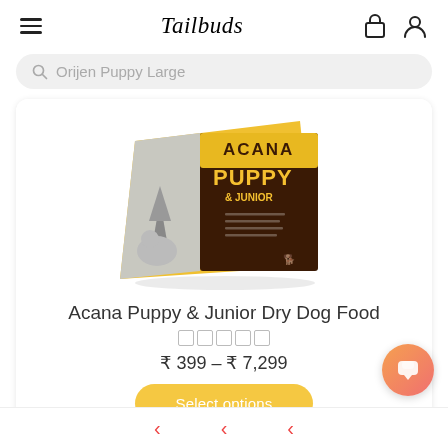Tailbuds
Orijen Puppy Large
[Figure (photo): ACANA Puppy & Junior dry dog food box, yellow and dark brown packaging with puppy image]
Acana Puppy & Junior Dry Dog Food
★★★★★ (empty stars rating)
₹ 399 – ₹ 7,299
Select options